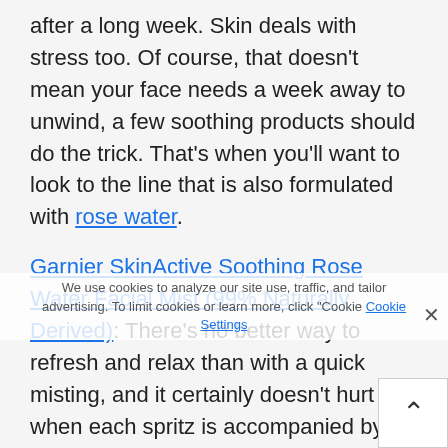after a long week. Skin deals with stress too. Of course, that doesn't mean your face needs a week away to unwind, a few soothing products should do the trick. That's when you'll want to look to the line that is also formulated with rose water.
Garnier SkinActive Soothing Rose Water Facial Mist (99% Naturally Derived): There's no better way to refresh and relax than with a quick misting, and it certainly doesn't hurt when each spritz is accompanied by the sweet scent of rose. This face mist lightly hydrates and leaves skin feeling soothed and refreshed. Mist 12-15 inches from the face whenever you're in need of a boost of refreshment.
Garnier SkinActive Soothing Rose Water Cleansing Milk (98% Naturally Derived): Cleansing doesn't tend to be the most soothing part of anyone's skin care regimen, but that doesn't have to be the case. This